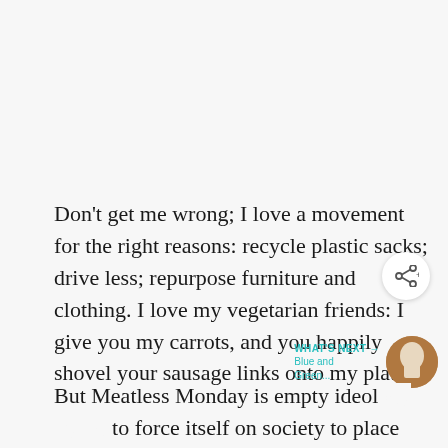Don't get me wrong; I love a movement for the right reasons: recycle plastic sacks; drive less; repurpose furniture and clothing. I love my vegetarian friends: I give you my carrots, and you happily shovel your sausage links onto my plate.
But Meatless Monday is empty ideol… to force itself on society to place guilt on those